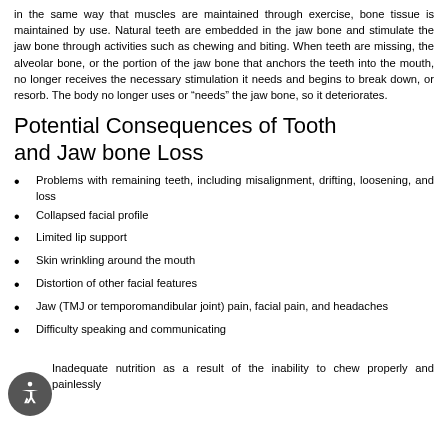in the same way that muscles are maintained through exercise, bone tissue is maintained by use. Natural teeth are embedded in the jaw bone and stimulate the jaw bone through activities such as chewing and biting. When teeth are missing, the alveolar bone, or the portion of the jaw bone that anchors the teeth into the mouth, no longer receives the necessary stimulation it needs and begins to break down, or resorb. The body no longer uses or “needs” the jaw bone, so it deteriorates.
Potential Consequences of Tooth and Jaw bone Loss
Problems with remaining teeth, including misalignment, drifting, loosening, and loss
Collapsed facial profile
Limited lip support
Skin wrinkling around the mouth
Distortion of other facial features
Jaw (TMJ or temporomandibular joint) pain, facial pain, and headaches
Difficulty speaking and communicating
Inadequate nutrition as a result of the inability to chew properly and painlessly